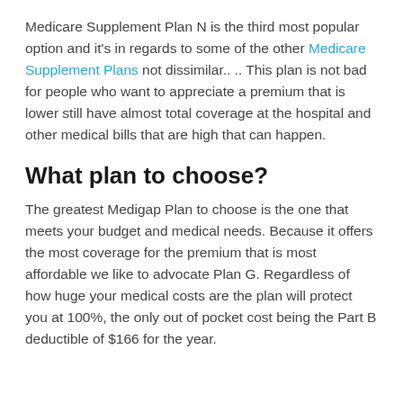Medicare Supplement Plan N is the third most popular option and it's in regards to some of the other Medicare Supplement Plans not dissimilar.. .. This plan is not bad for people who want to appreciate a premium that is lower still have almost total coverage at the hospital and other medical bills that are high that can happen.
What plan to choose?
The greatest Medigap Plan to choose is the one that meets your budget and medical needs. Because it offers the most coverage for the premium that is most affordable we like to advocate Plan G. Regardless of how huge your medical costs are the plan will protect you at 100%, the only out of pocket cost being the Part B deductible of $166 for the year.